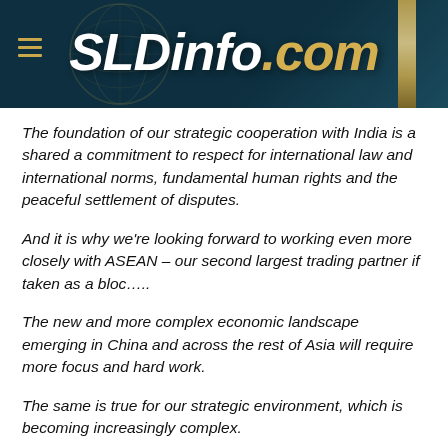[Figure (logo): SLDinfo.com website header with dark teal background, globe graphic, gold stripe, hamburger menu icon, and italic bold white/gold logo text reading SLDinfo.com]
The foundation of our strategic cooperation with India is a shared a commitment to respect for international law and international norms, fundamental human rights and the peaceful settlement of disputes.
And it is why we're looking forward to working even more closely with ASEAN – our second largest trading partner if taken as a bloc…..
The new and more complex economic landscape emerging in China and across the rest of Asia will require more focus and hard work.
The same is true for our strategic environment, which is becoming increasingly complex.
In both the economic and security realms we have to be